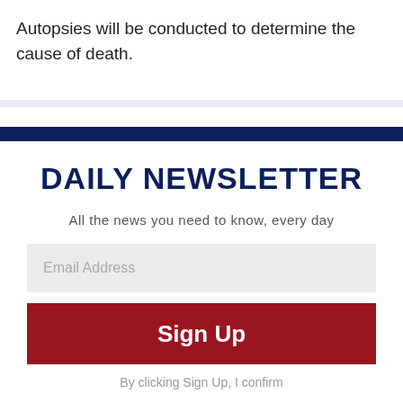Autopsies will be conducted to determine the cause of death.
DAILY NEWSLETTER
All the news you need to know, every day
Email Address
Sign Up
By clicking Sign Up, I confirm